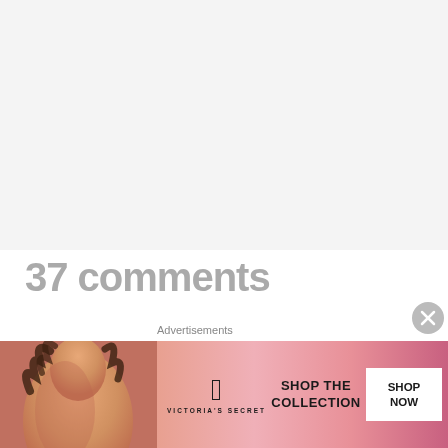37 comments
[Figure (illustration): Partial view of a circular avatar image with a green/teal background showing arrow icons, cropped at the bottom of the upper section]
We use cookies on our website to give you the most relevant experience by remembering your preferences and repeat visits. By clicking “Accept”, you consent to the use of ALL the cookies.
Do not sell my personal information
Advertisements
[Figure (photo): Victoria's Secret advertisement banner with a woman model on the left, VS logo in the center, text SHOP THE COLLECTION, and a white SHOP NOW button on the right, on a pink/red gradient background]